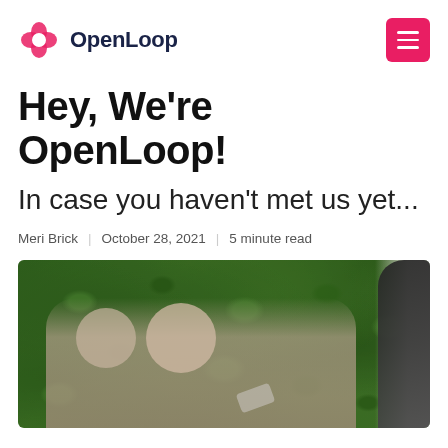OpenLoop
Hey, We’re OpenLoop!
In case you haven’t met us yet...
Meri Brick | October 28, 2021 | 5 minute read
[Figure (photo): Group of people taking a selfie in front of a green foliage wall, with a partial figure visible on the right side]